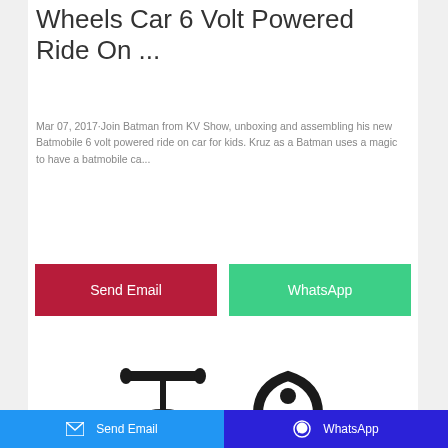Wheels Car 6 Volt Powered Ride On ...
Mar 07, 2017·Join Batman from KV Show, unboxing and assembling his new Batmobile 6 volt powered ride on car for kids. Kruz as a Batman uses a magic to have a batmobile ca...
[Figure (other): Send Email button (red/crimson) and WhatsApp button (green) side by side]
[Figure (other): Partial product images showing parts of a ride-on toy car in black]
Send Email   WhatsApp